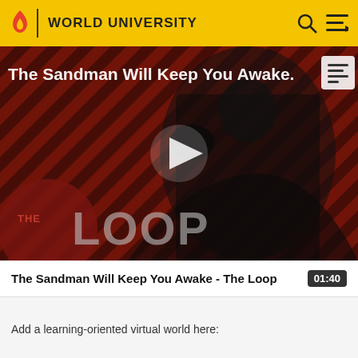WORLD UNIVERSITY
[Figure (screenshot): Video thumbnail for 'The Sandman Will Keep You Awake - The Loop'. Shows a dark figure in black cape against red and black diagonal striped background with 'THE LOOP' text overlay. A play button is centered on the image.]
The Sandman Will Keep You Awake - The Loop 01:40
Add a learning-oriented virtual world here: